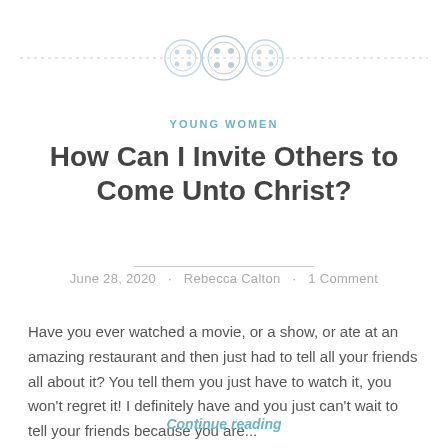[Figure (illustration): Three decorative button icons arranged horizontally on a dashed horizontal rule, used as a page header decoration. Buttons are rendered in light gray/silver tones.]
YOUNG WOMEN
How Can I Invite Others to Come Unto Christ?
June 28, 2020 · Rebecca Calton · 1 Comment
Have you ever watched a movie, or a show, or ate at an amazing restaurant and then just had to tell all your friends all about it? You tell them you just have to watch it, you won't regret it! I definitely have and you just can't wait to tell your friends because you are...
Continue reading